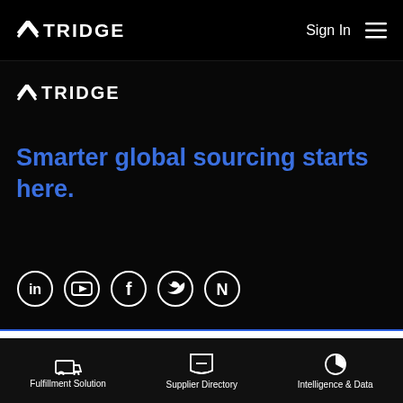TRIDGE   Sign In ☰
[Figure (logo): Tridge logo with stylized arrow/chevron and text TRIDGE in white on black background]
Smarter global sourcing starts here.
[Figure (illustration): Social media icons: LinkedIn, YouTube, Facebook, Twitter, Naver in circular outlines on dark background]
By clicking "Accept Cookies," I agree to provide cookies for statistical and personalized preference purposes. To learn more about our cookies, please read our Privacy Policy.
Accept Cookies
Fulfillment Solution   Supplier Directory   Intelligence & Data